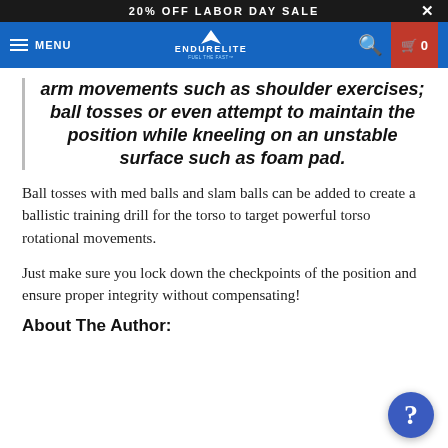20% OFF LABOR DAY SALE
[Figure (logo): EndureElite navigation bar with hamburger menu, logo, search icon, and cart icon showing 0 items]
arm movements such as shoulder exercises; ball tosses or even attempt to maintain the position while kneeling on an unstable surface such as foam pad.
Ball tosses with med balls and slam balls can be added to create a ballistic training drill for the torso to target powerful torso rotational movements.
Just make sure you lock down the checkpoints of the position and ensure proper integrity without compensating!
About The Author: